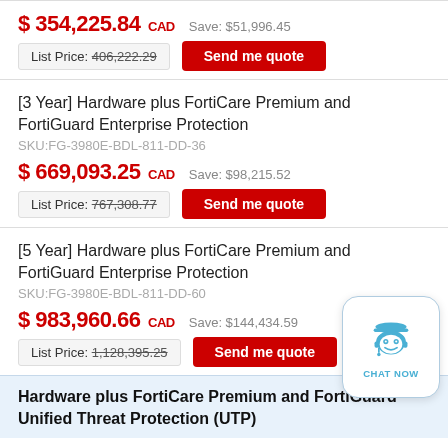$ 354,225.84 CAD   Save: $51,996.45
List Price: 406,222.29   Send me quote
[3 Year] Hardware plus FortiCare Premium and FortiGuard Enterprise Protection
SKU:FG-3980E-BDL-811-DD-36
$ 669,093.25 CAD   Save: $98,215.52
List Price: 767,308.77   Send me quote
[5 Year] Hardware plus FortiCare Premium and FortiGuard Enterprise Protection
SKU:FG-3980E-BDL-811-DD-60
$ 983,960.66 CAD   Save: $144,434.59
List Price: 1,128,395.25   Send me quote
Hardware plus FortiCare Premium and FortiGuard Unified Threat Protection (UTP)